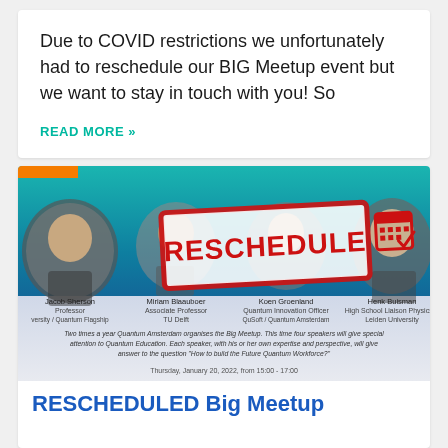Due to COVID restrictions we unfortunately had to reschedule our BIG Meetup event but we want to stay in touch with you! So
READ MORE »
[Figure (photo): Event banner for RESCHEDULED Big Meetup showing four speakers (Jacob Sherson - Professor, Miriam Blaauboer - Associate Professor TU Delft, Koen Groenland - Quantum Innovation Officer QuSoft/Quantum Amsterdam, Henk Buisman - High School Liaison Physics & Leiden University) with a large red RESCHEDULE stamp graphic in the center, on a teal/blue gradient background. Text at bottom: Two times a year Quantum Amsterdam organises the Big Meetup. This time four speakers will give special attention to Quantum Education. Each speaker, with his or her own expertise and perspective, will give answer to the question 'How to build the Future Quantum Workforce?' Thursday, January 20, 2022, from 15:00 - 17:00]
RESCHEDULED Big Meetup